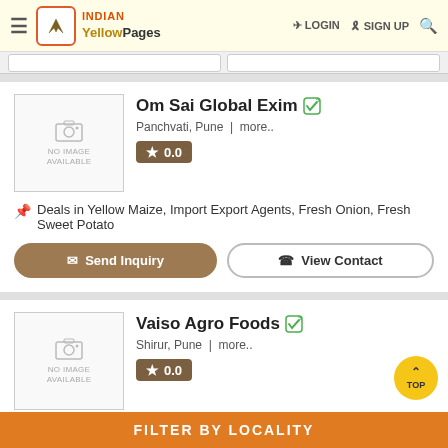INDIAN Yellow Pages | LOGIN | SIGN UP
Om Sai Global Exim
Panchvati, Pune | more..
0.0
Deals in Yellow Maize, Import Export Agents, Fresh Onion, Fresh Sweet Potato
Vaiso Agro Foods
Shirur, Pune | more..
0.0
Deals in Canned Sweet Corn, Frozen Black Plum Pulp, frozen guava pulp
FILTER BY LOCALITY